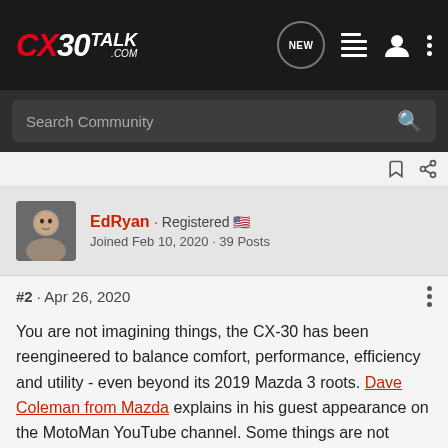CX30TALK.COM
Search Community
[Figure (photo): Avatar photo of EdRyan, a male forum user]
EdRyan · Registered 🇺🇸
Joined Feb 10, 2020 · 39 Posts
#2 · Apr 26, 2020
You are not imagining things, the CX-30 has been reengineered to balance comfort, performance, efficiency and utility - even beyond its 2019 Mazda 3 roots. Dave Coleman from Mazda explains in his guest appearance on the MotoMan YouTube channel. Some things are not improved components, per se, but using smarter software to coordinate steering, power train and braking to provide a better experience.